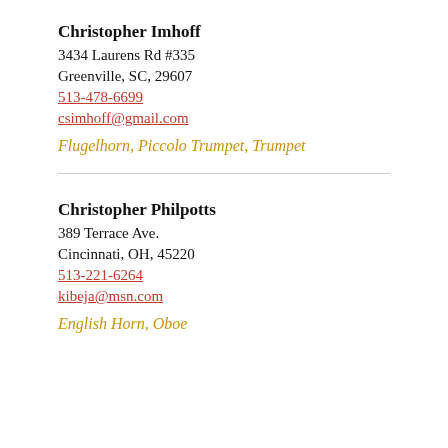Christopher Imhoff
3434 Laurens Rd #335
Greenville, SC, 29607
513-478-6699
csimhoff@gmail.com
Flugelhorn, Piccolo Trumpet, Trumpet
Christopher Philpotts
389 Terrace Ave.
Cincinnati, OH, 45220
513-221-6264
kibeja@msn.com
English Horn, Oboe